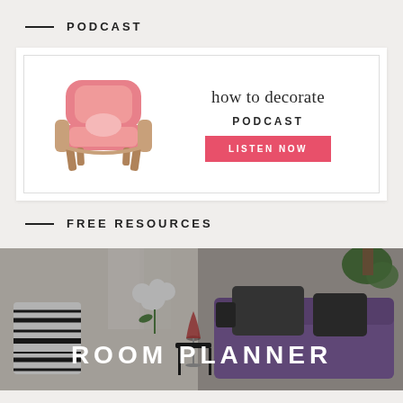PODCAST
[Figure (illustration): How to Decorate Podcast banner with a pink French armchair on the left and text 'how to decorate PODCAST' with a pink 'LISTEN NOW' button on the right, inside a white card with border]
FREE RESOURCES
[Figure (photo): Room planner promotional image showing a living room with zebra-print pillows, white flowers, a wine glass, and a purple sofa with dark grey cushions on the right. Text overlay reads ROOM PLANNER]